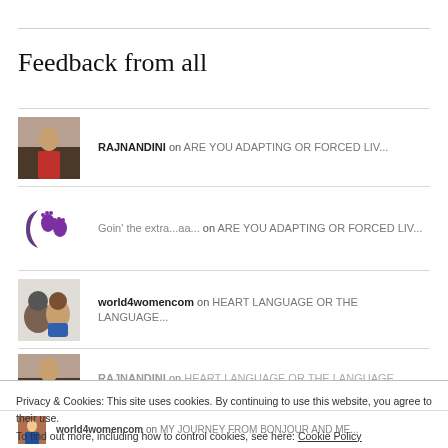Feedback from all
RAJNANDINI on ARE YOU ADAPTING OR FORCED LIV...
Goin' the extra...aa... on ARE YOU ADAPTING OR FORCED LIV...
world4womencom on HEART LANGUAGE OR THE LANGUAGE...
RAJNANDINI on HEART LANGUAGE OR THE LANGUAGE...
Privacy & Cookies: This site uses cookies. By continuing to use this website, you agree to their use. To find out more, including how to control cookies, see here: Cookie Policy
world4womencom on MY JOURNEY FROM BONJOUR AND ME...